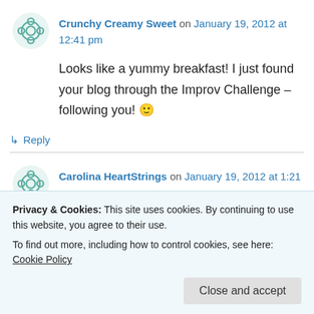Crunchy Creamy Sweet on January 19, 2012 at 12:41 pm
Looks like a yummy breakfast! I just found your blog through the Improv Challenge – following you! 🙂
↳ Reply
Carolina HeartStrings on January 19, 2012 at 1:21 pm
Privacy & Cookies: This site uses cookies. By continuing to use this website, you agree to their use.
To find out more, including how to control cookies, see here: Cookie Policy
Close and accept